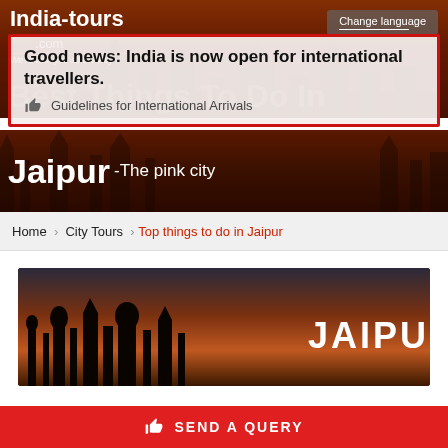India-tours.com — We're with you all the way | Change language
Good news: India is now open for international travellers.
👍 Guidelines for International Arrivals
Best Things To Do In Jaipur - The pink city
Home > City Tours > Top things to do in Jaipur
[Figure (photo): Jaipur city banner with architectural silhouette and JAIPUR text label]
SEND A QUERY